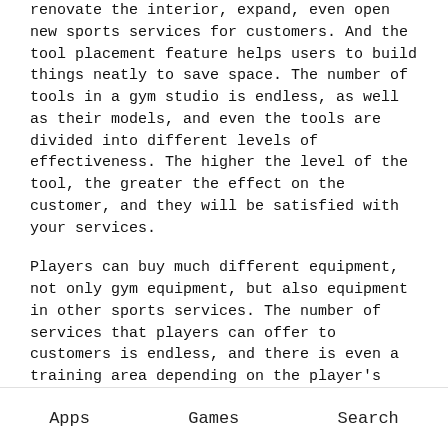renovate the interior, expand, even open new sports services for customers. And the tool placement feature helps users to build things neatly to save space. The number of tools in a gym studio is endless, as well as their models, and even the tools are divided into different levels of effectiveness. The higher the level of the tool, the greater the effect on the customer, and they will be satisfied with your services.
Players can buy much different equipment, not only gym equipment, but also equipment in other sports services. The number of services that players can offer to customers is endless, and there is even a training area depending on the player's construction. Each service will have a membership fee per person, and it will increase if the quality of the gym is improved
Apps   Games   Search